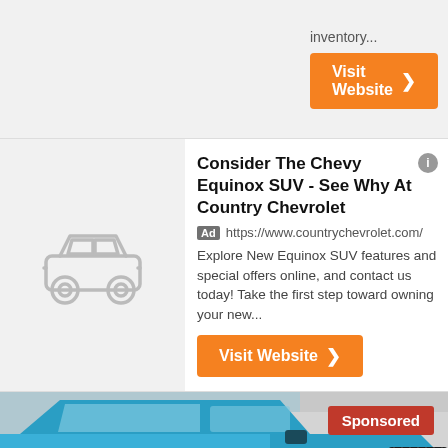inventory...
Visit Website ❯
Consider The Chevy Equinox SUV - See Why At Country Chevrolet
Ad https://www.countrychevrolet.com/
Explore New Equinox SUV features and special offers online, and contact us today! Take the first step toward owning your new...
Visit Website ❯
[Figure (photo): Blue Jeep Wrangler Unlimited SUV photographed from the front-left angle with a 'Sponsored' badge in upper right and a 'See photo ❯' button in lower right]
2018 Jeep Wrangler Unlimited Sport Saint Paul...